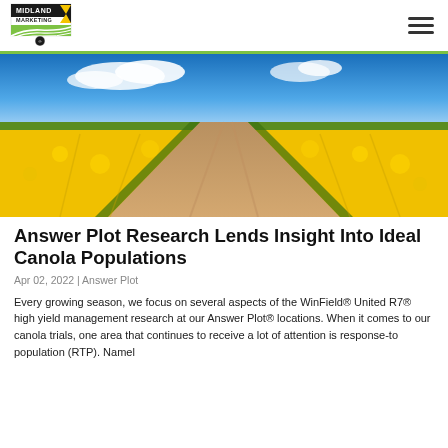Midland Marketing logo and navigation
[Figure (photo): A dirt road running through a vast field of bright yellow canola flowers under a vivid blue sky with white clouds.]
Answer Plot Research Lends Insight Into Ideal Canola Populations
Apr 02, 2022 | Answer Plot
Every growing season, we focus on several aspects of the WinField® United R7® high yield management research at our Answer Plot® locations. When it comes to our canola trials, one area that continues to receive a lot of attention is response-to population (RTP). Namel